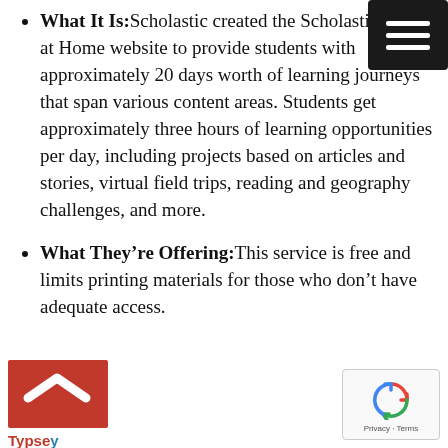What It Is:Scholastic created the Scholastic Learn at Home website to provide students with approximately 20 days worth of learning journeys that span various content areas. Students get approximately three hours of learning opportunities per day, including projects based on articles and stories, virtual field trips, reading and geography challenges, and more.
What They’re Offering:This service is free and limits printing materials for those who don’t have adequate access.
[Figure (logo): Typsey logo - red square background with white chevron/arrow icon and 'Typsey' text below in red with blue 'y']
[Figure (logo): Google reCAPTCHA badge with recycling arrow icon and 'Privacy · Terms' text]